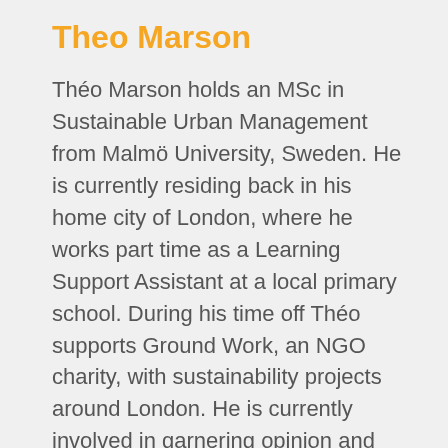Theo Marson
Théo Marson holds an MSc in Sustainable Urban Management from Malmö University, Sweden. He is currently residing back in his home city of London, where he works part time as a Learning Support Assistant at a local primary school. During his time off Théo supports Ground Work, an NGO charity, with sustainability projects around London. He is currently involved in garnering opinion and input from local residents